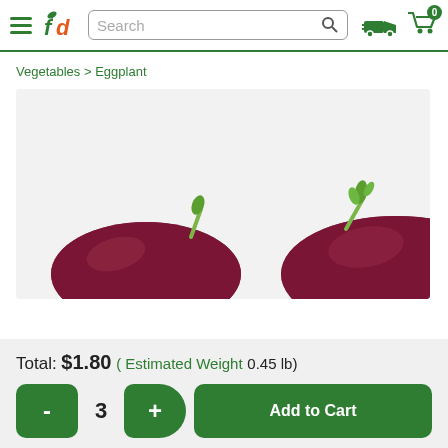fd — Search — Delivery icon — Cart (0)
Vegetables > Eggplant
[Figure (photo): Two small dark purple eggplants on a white background, one showing its green stem prominently.]
Total: $1.80 ( Estimated Weight 0.45 lb)
- 3 +  Add to Cart